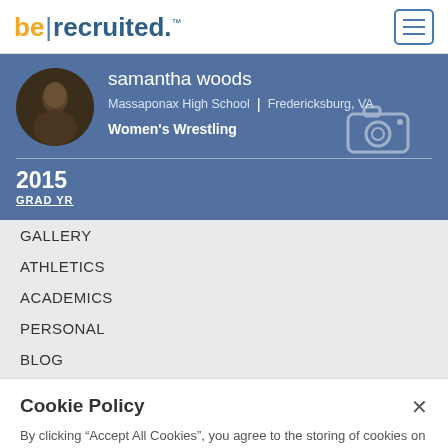be|recruited™
[Figure (logo): BeRecruited logo with orange 'be', blue pipe separator, and dark blue 'recruited.' text]
samantha woods
Massaponax High School | Fredericksburg, VA
Women's Wrestling
2015
GRAD YR
GALLERY
ATHLETICS
ACADEMICS
PERSONAL
BLOG
Cookie Policy
By clicking “Accept All Cookies”, you agree to the storing of cookies on your device to enhance site navigation, analyze site usage, and assist in our marketing efforts.